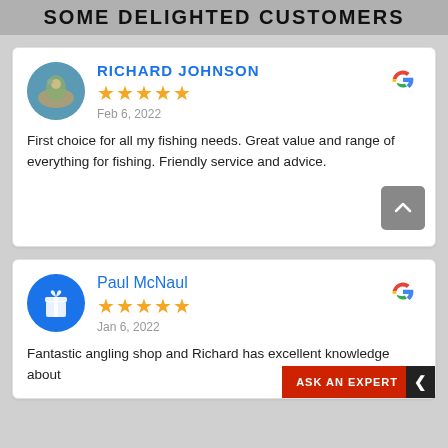SOME DELIGHTED CUSTOMERS
RICHARD JOHNSON
★★★★★
Feb 6, 2022
First choice for all my fishing needs. Great value and range of everything for fishing. Friendly service and advice.
Paul McNaul
★★★★★
Jan 6, 2022
Fantastic angling shop and Richard has excellent knowledge about